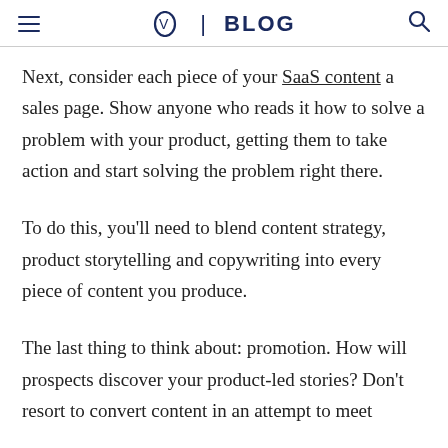OV | BLOG
Next, consider each piece of your SaaS content a sales page. Show anyone who reads it how to solve a problem with your product, getting them to take action and start solving the problem right there.
To do this, you'll need to blend content strategy, product storytelling and copywriting into every piece of content you produce.
The last thing to think about: promotion. How will prospects discover your product-led stories? Don't resort to convert content in an attempt to meet